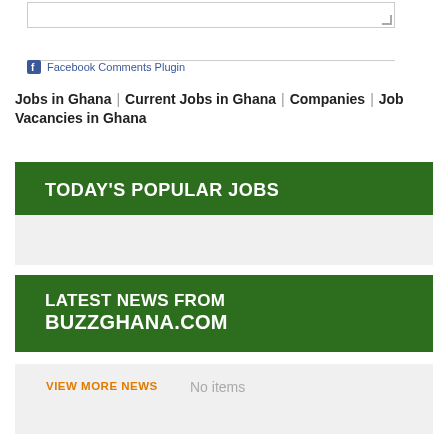[Figure (screenshot): Text input/comment box with resize handle]
Facebook Comments Plugin
Jobs in Ghana | Current Jobs in Ghana | Companies | Job Vacancies in Ghana
TODAY'S POPULAR JOBS
LATEST NEWS FROM BUZZGHANA.COM
VIEW MORE NEWS
No items